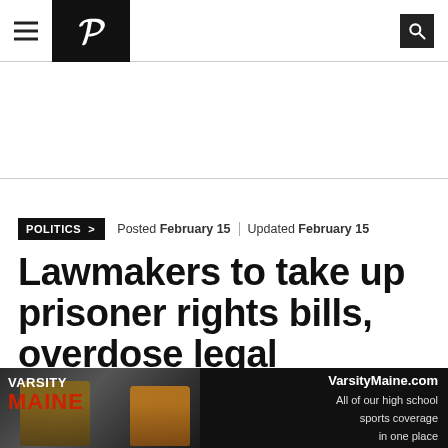Portland Press Herald navigation header with hamburger menu, P logo, and search icon
POLITICS >   Posted February 15  |  Updated February 15
Lawmakers to take up prisoner rights bills, overdose legal protections
During work sessions this week, lawmakers on the Criminal Justice and Public Safety
[Figure (photo): Varsity Maine advertisement banner showing football players with text VarsityMaine.com All of our high school sports coverage in one place]